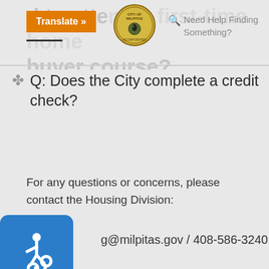Translate »
[Figure (logo): City of Milpitas seal/logo in center of header]
Need Help Finding Something?
Q: Does the City complete a credit check?
For any questions or concerns, please contact the Housing Division:
g@milpitas.gov / 408-586-3240
[Figure (illustration): Blue accessibility (wheelchair) icon]
Building Safety & Housing Department
Building Safety
Accessory Dwelling Units (ADUs)